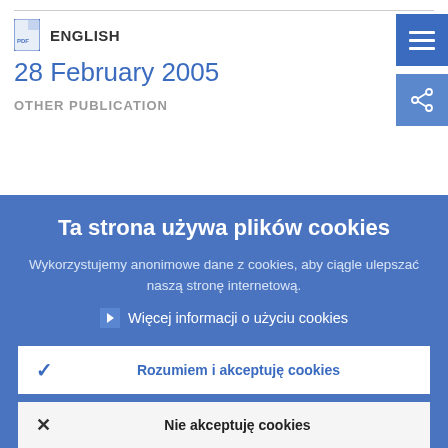ENGLISH
28 February 2005
OTHER PUBLICATION
Ta strona używa plików cookies
Wykorzystujemy anonimowe dane z cookies, aby ciągle ulepszać naszą stronę internetową.
Więcej informacji o użyciu cookies
Rozumiem i akceptuję cookies
Nie akceptuję cookies